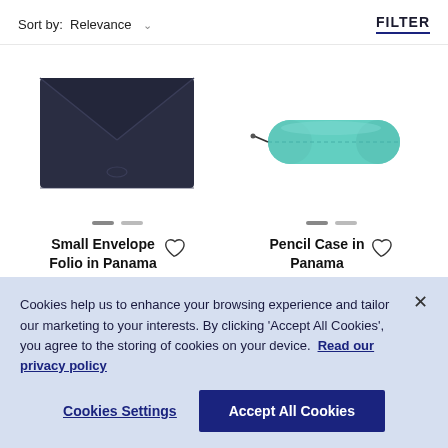Sort by: Relevance   FILTER
[Figure (photo): Dark navy blue leather Small Envelope Folio product]
Small Envelope Folio in Panama
[Figure (photo): Teal/mint colored cylindrical Pencil Case product]
Pencil Case in Panama
Cookies help us to enhance your browsing experience and tailor our marketing to your interests. By clicking 'Accept All Cookies', you agree to the storing of cookies on your device. Read our privacy policy